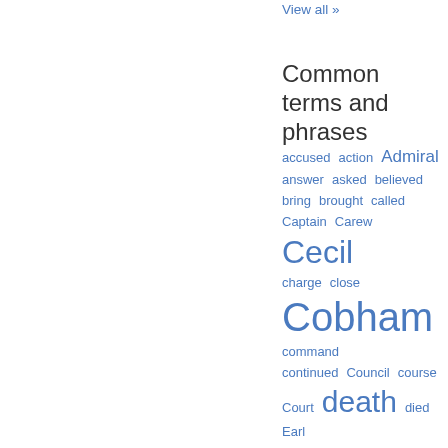View all »
Common terms and phrases
accused action Admiral answer asked believed bring brought called Captain Carew Cecil charge close Cobham command continued Council course Court death died Earl Edwards Elizabeth Elizabethan enemies England English Essex execution fleet followed